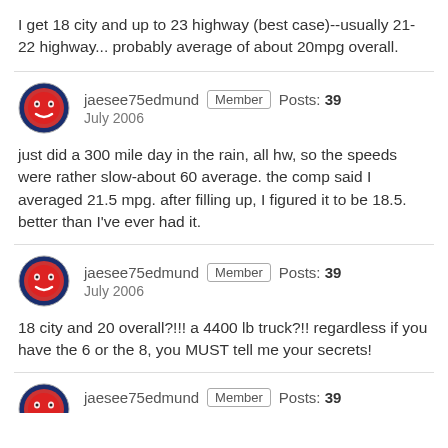I get 18 city and up to 23 highway (best case)--usually 21-22 highway... probably average of about 20mpg overall.
jaesee75edmund   Member   Posts: 39   July 2006
just did a 300 mile day in the rain, all hw, so the speeds were rather slow-about 60 average. the comp said I averaged 21.5 mpg. after filling up, I figured it to be 18.5. better than I've ever had it.
jaesee75edmund   Member   Posts: 39   July 2006
18 city and 20 overall?!!! a 4400 lb truck?!! regardless if you have the 6 or the 8, you MUST tell me your secrets!
jaesee75edmund   Member   Posts: 39